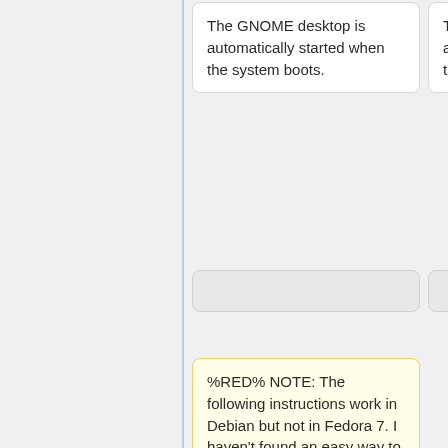The GNOME desktop is automatically started when the system boots.
The GNOME desktop is automatically started when the system boots.
%RED% NOTE: The following instructions work in Debian but not in Fedora 7. I haven't found an easy way to stop and start the GNOME desktop GUI in Fedora. %ENDCOLOR%
To stop <code>GNOME<
To stop <code>GNOME<